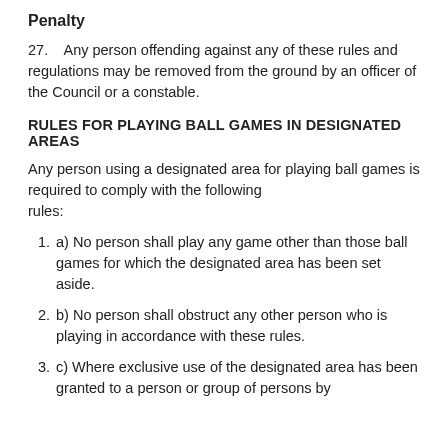Penalty
27.   Any person offending against any of these rules and regulations may be removed from the ground by an officer of the Council or a constable.
RULES FOR PLAYING BALL GAMES IN DESIGNATED AREAS
Any person using a designated area for playing ball games is required to comply with the following rules:
a) No person shall play any game other than those ball games for which the designated area has been set aside.
b) No person shall obstruct any other person who is playing in accordance with these rules.
c) Where exclusive use of the designated area has been granted to a person or group of persons by